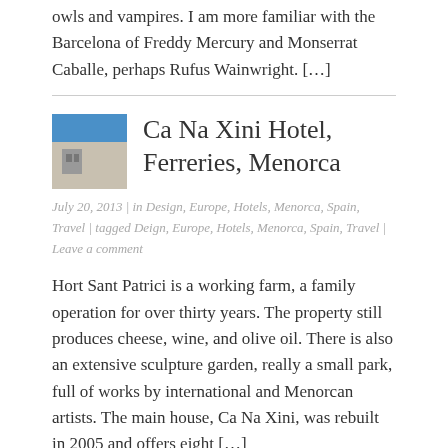owls and vampires. I am more familiar with the Barcelona of Freddy Mercury and Monserrat Caballe, perhaps Rufus Wainwright. […]
Ca Na Xini Hotel, Ferreries, Menorca
July 20, 2013 | in Design, Europe, Hotels, Menorca, Spain, Travel | tagged Deign, Europe, Hotels, Menorca, Spain, Travel | Leave a comment
Hort Sant Patrici is a working farm, a family operation for over thirty years. The property still produces cheese, wine, and olive oil. There is also an extensive sculpture garden, really a small park, full of works by international and Menorcan artists. The main house, Ca Na Xini, was rebuilt in 2005 and offers eight […]